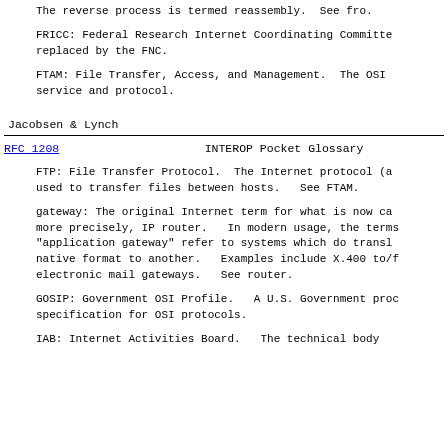The reverse process is termed reassembly.  See fro.
FRICC: Federal Research Internet Coordinating Committee.  replaced by the FNC.
FTAM: File Transfer, Access, and Management.  The OSI service and protocol.
Jacobsen & Lynch
RFC 1208                    INTEROP Pocket Glossary
FTP: File Transfer Protocol.  The Internet protocol (a used to transfer files between hosts.  See FTAM.
gateway: The original Internet term for what is now ca more precisely, IP router.  In modern usage, the terms "application gateway" refer to systems which do transl native format to another.  Examples include X.400 to/f electronic mail gateways.  See router.
GOSIP: Government OSI Profile.  A U.S. Government proc specification for OSI protocols.
IAB: Internet Activities Board.  The technical body